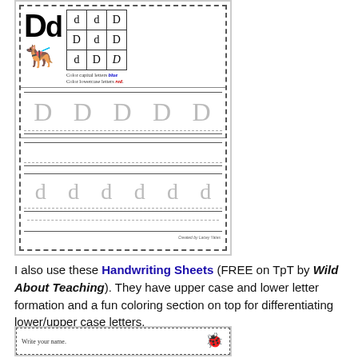[Figure (illustration): A handwriting worksheet for letter Dd showing: large Dd logo, a 3x3 grid with capital D and lowercase d letters to sort, a dog illustration, coloring instructions, tracing lines for uppercase D and lowercase d]
I also use these Handwriting Sheets (FREE on TpT by Wild About Teaching). They have upper case and lower letter formation and a fun coloring section on top for differentiating lower/upper case letters.
[Figure (illustration): Bottom portion of another worksheet showing 'Write your name.' with a bug/insect illustration]